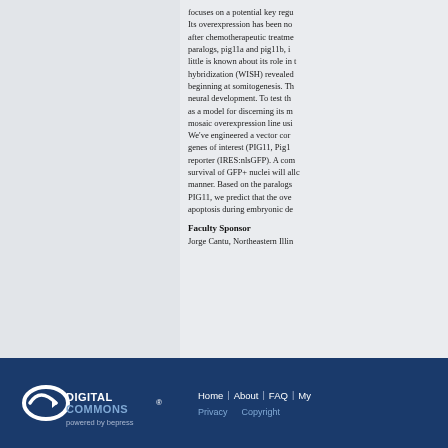focuses on a potential key regu... Its overexpression has been n... after chemotherapeutic treatme... paralogs, pig11a and pig11b, i... little is known about its role in t... hybridization (WISH) revealed... beginning at somitogenesis. Th... neural development. To test th... as a model for discerning its m... mosaic overexpression line us... We've engineered a vector co... genes of interest (PIG11, Pig1... reporter (IRES:nlsGFP). A com... survival of GFP+ nuclei will all... manner. Based on the paralogs... PIG11, we predict that the ove... apoptosis during embryonic de...
Faculty Sponsor
Jorge Cantu, Northeastern Illin...
DigitalCommons powered by bepress | Home | About | FAQ | My... | Privacy | Copyright